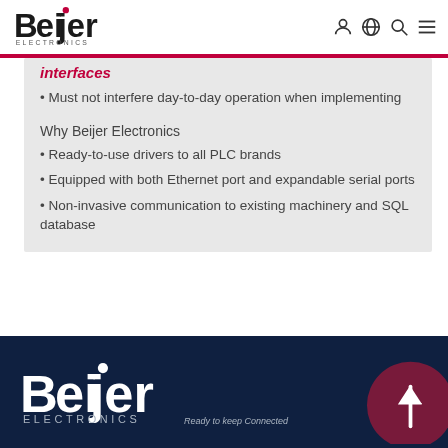Beijer Electronics — navigation header
interfaces
Must not interfere day-to-day operation when implementing
Why Beijer Electronics
Ready-to-use drivers to all PLC brands
Equipped with both Ethernet port and expandable serial ports
Non-invasive communication to existing machinery and SQL database
Beijer Electronics footer with logo and scroll-up icon